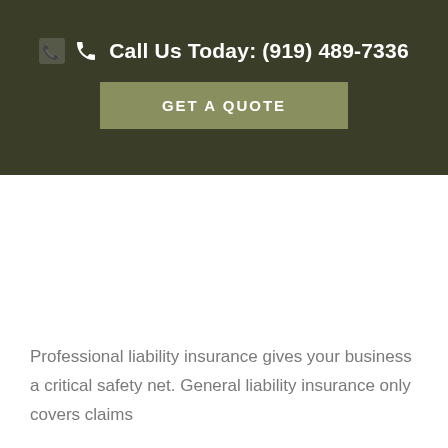Call Us Today: (919) 489-7336
GET A QUOTE
Professional liability insurance gives your business a critical safety net. General liability insurance only covers claims